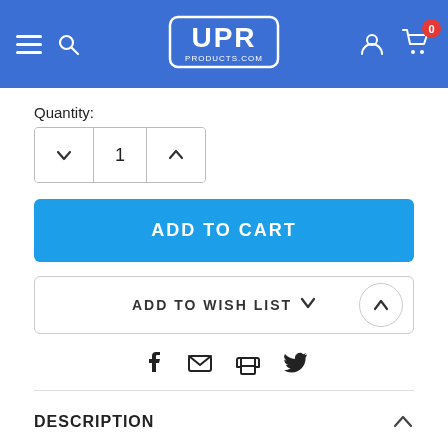UPR Products
Quantity:
1
ADD TO CART
ADD TO WISH LIST
[Figure (screenshot): Social share icons: Facebook, Email, Print, Twitter]
DESCRIPTION
UPR Billet Aluminum Swivel Thermostat Housing Upgrade. Replaces the